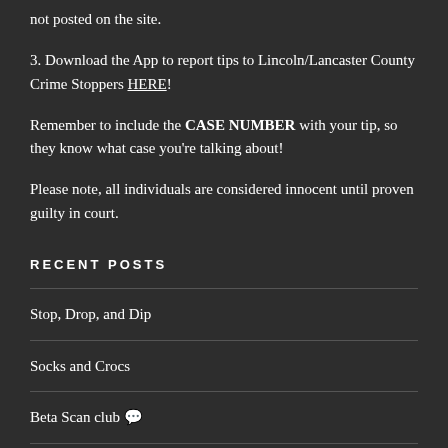not posted on the site.
3. Download the App to report tips to Lincoln/Lancaster County Crime Stoppers HERE!
Remember to include the CASE NUMBER with your tip, so they know what case you're talking about!
Please note, all individuals are considered innocent until proven guilty in court.
RECENT POSTS
Stop, Drop, and Dip
Socks and Crocs
Beta Scan club...